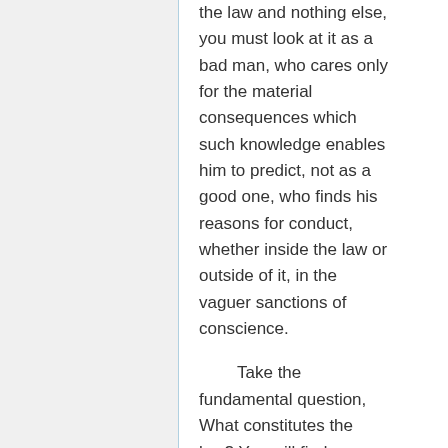the law and nothing else, you must look at it as a bad man, who cares only for the material consequences which such knowledge enables him to predict, not as a good one, who finds his reasons for conduct, whether inside the law or outside of it, in the vaguer sanctions of conscience.
Take the fundamental question, What constitutes the law? You will find some text writers telling you that it is something different from what is decided by the courts of